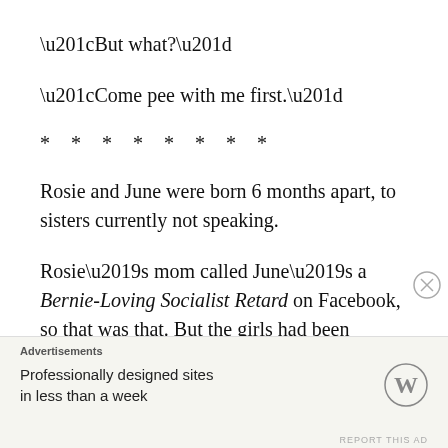“But what?”
“Come pee with me first.”
* * * * * * * *
Rosie and June were born 6 months apart, to sisters currently not speaking.
Rosie’s mom called June’s a Bernie-Loving Socialist Retard on Facebook, so that was that. But the girls had been inseparable since
Advertisements
Professionally designed sites in less than a week